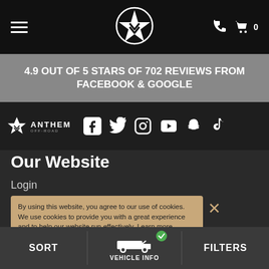[Figure (screenshot): Anthem Off-Road website screenshot showing navigation bar with hamburger menu, centered logo, phone and cart icons]
4.9 OUT OF 5 STARS OF 702 REVIEWS FROM FACEBOOK & GOOGLE
[Figure (logo): Anthem Off-Road logo with social media icons: Facebook, Twitter, Instagram, YouTube, Snapchat, TikTok]
Our Website
Login
By using this website, you agree to our use of cookies. We use cookies to provide you with a great experience and to help our website run effectively. Learn more
Suspension
SORT
VEHICLE INFO
FILTERS